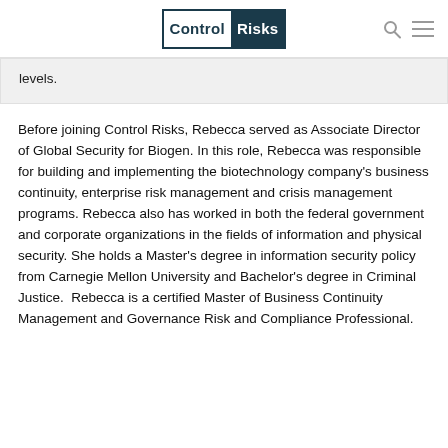Control Risks
levels.
Before joining Control Risks, Rebecca served as Associate Director of Global Security for Biogen. In this role, Rebecca was responsible for building and implementing the biotechnology company's business continuity, enterprise risk management and crisis management programs. Rebecca also has worked in both the federal government and corporate organizations in the fields of information and physical security. She holds a Master's degree in information security policy from Carnegie Mellon University and Bachelor's degree in Criminal Justice.  Rebecca is a certified Master of Business Continuity Management and Governance Risk and Compliance Professional.